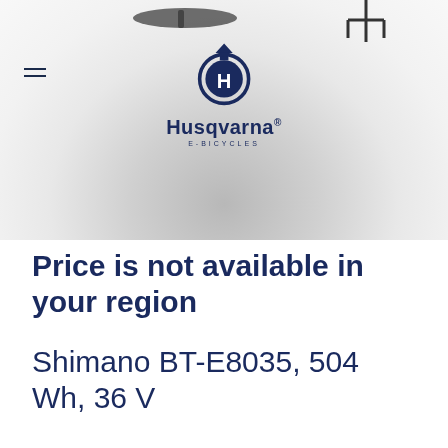[Figure (screenshot): Husqvarna E-Bicycles website header with logo centered, hamburger menu icon on top-left, and partial bicycle parts (saddle and handlebars) visible at top edge. Studio-lit gradient background.]
Price is not available in your region
Shimano BT-E8035, 504 Wh, 36 V